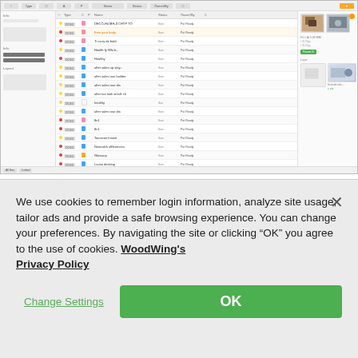[Figure (screenshot): Screenshot of a content management system (Studio) showing a Linked Files panel with a list of files, each with status indicators (colored dots), file type badges, flags, file names, status, and ownership columns. A right panel shows thumbnail previews of assets.]
Figure: The Linked Files panel shows to which files in Studio
We use cookies to remember login information, analyze site usage, tailor ads and provide a safe browsing experience. You can change your preferences. By navigating the site or clicking “OK” you agree to the use of cookies. WoodWing's Privacy Policy
Change Settings
OK